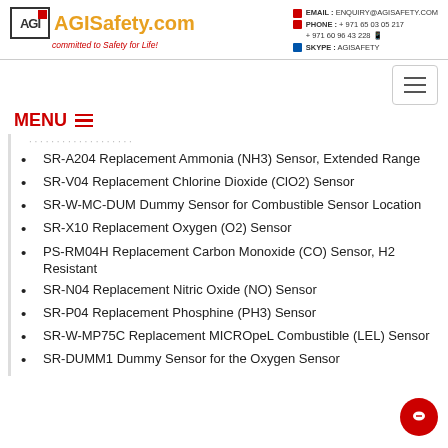AGI AGISafety.com committed to Safety for Life! | EMAIL: ENQUIRY@AGISAFETY.COM | PHONE: +971 65 03 05 217 | +971 60 96 43 228 | SKYPE: AGISAFETY
MENU
SR-A204 Replacement Ammonia (NH3) Sensor, Extended Range
SR-V04 Replacement Chlorine Dioxide (ClO2) Sensor
SR-W-MC-DUM Dummy Sensor for Combustible Sensor Location
SR-X10 Replacement Oxygen (O2) Sensor
PS-RM04H Replacement Carbon Monoxide (CO) Sensor, H2 Resistant
SR-N04 Replacement Nitric Oxide (NO) Sensor
SR-P04 Replacement Phosphine (PH3) Sensor
SR-W-MP75C Replacement MICROpeL Combustible (LEL) Sensor
SR-DUMM1 Dummy Sensor for the Oxygen Sensor